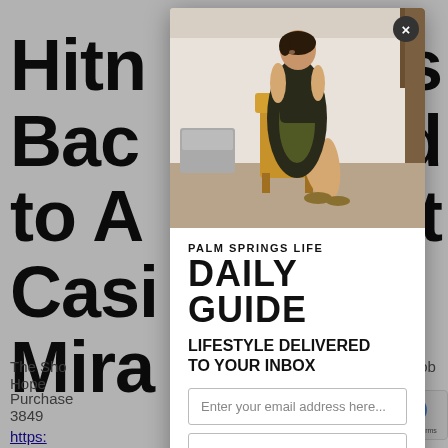Hitn…ns Bac…and to A…rt Casi… Mira…
The Sho… ob Hope
Purchase… 514-3849
https:…
[Figure (photo): Modal popup overlay on a webpage. The modal contains a photo of a woman in a gold/black gown seated on a chair outdoors, with 'PALM SPRINGS LIFE DAILY GUIDE' text, 'LIFESTYLE DELIVERED TO YOUR INBOX' tagline, an email input field, and a 'Join Now' button. A close (X) button appears at top right of the modal.]